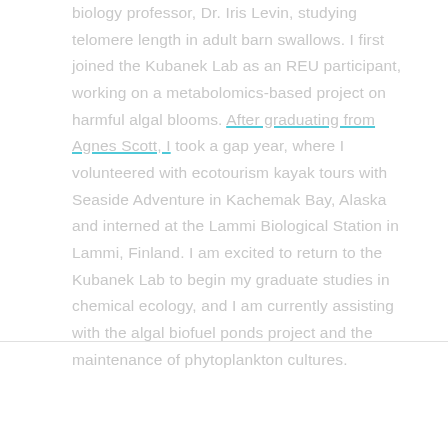biology professor, Dr. Iris Levin, studying telomere length in adult barn swallows. I first joined the Kubanek Lab as an REU participant, working on a metabolomics-based project on harmful algal blooms. After graduating from Agnes Scott, I took a gap year, where I volunteered with ecotourism kayak tours with Seaside Adventure in Kachemak Bay, Alaska and interned at the Lammi Biological Station in Lammi, Finland. I am excited to return to the Kubanek Lab to begin my graduate studies in chemical ecology, and I am currently assisting with the algal biofuel ponds project and the maintenance of phytoplankton cultures.